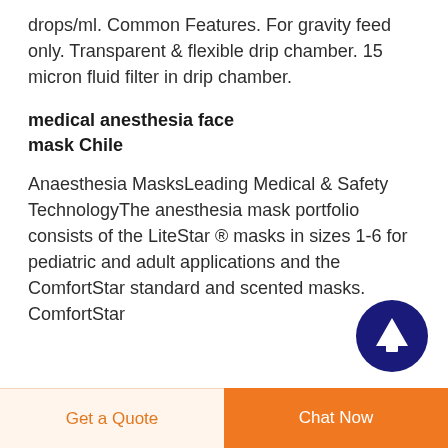drops/ml. Common Features. For gravity feed only. Transparent & flexible drip chamber. 15 micron fluid filter in drip chamber.
medical anesthesia face mask Chile
Anaesthesia MasksLeading Medical & Safety TechnologyThe anesthesia mask portfolio consists of the LiteStar ® masks in sizes 1-6 for pediatric and adult applications and the ComfortStar standard and scented masks. ComfortStar
[Figure (illustration): Dark navy blue circular button with white upward arrow icon, scroll-to-top button]
Get a Quote
Chat Now